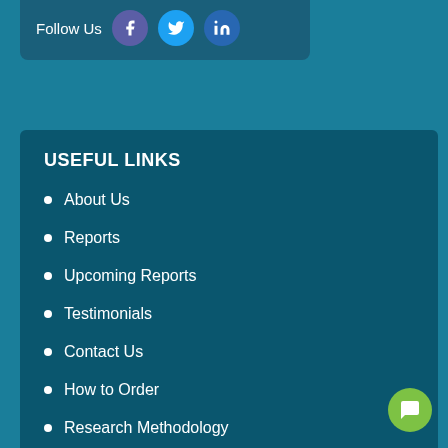Follow Us
USEFUL LINKS
About Us
Reports
Upcoming Reports
Testimonials
Contact Us
How to Order
Research Methodology